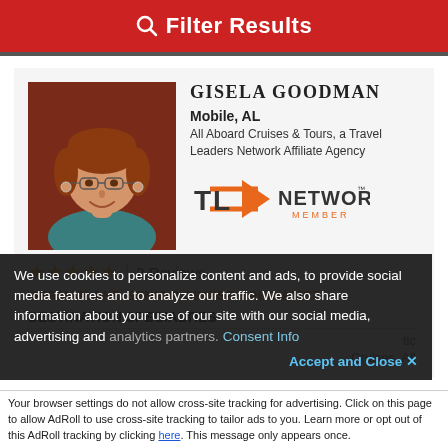Filter Results
[Figure (photo): Headshot photo of Gisela Goodman, a woman with reddish-brown hair and glasses, smiling, wearing a teal top.]
GISELA GOODMAN
Mobile, AL
All Aboard Cruises & Tours, a Travel Leaders Network Affiliate Agency
[Figure (logo): TL Network Member logo with orange arrow graphic.]
★★★★★ | 2 Reviews
GERMAN AND SENIOR CRUISE SPECIALIST
DESTINATION SPECIALTIES
...tic
..., Cruises, All
We use cookies to personalize content and ads, to provide social media features and to analyze our traffic. We also share information about your use of our site with our social media, advertising and analytics partners. Consent Info
Accept and Close ✕
Your browser settings do not allow cross-site tracking for advertising. Click on this page to allow AdRoll to use cross-site tracking to tailor ads to you. Learn more or opt out of this AdRoll tracking by clicking here. This message only appears once.
...and booked 5 European